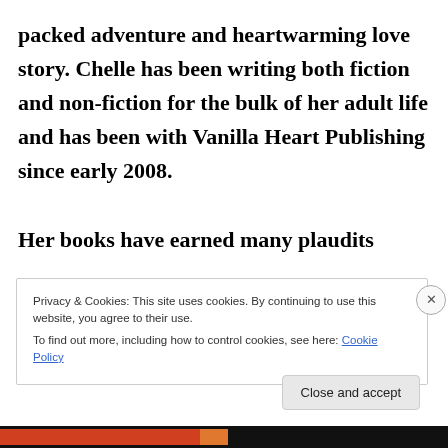packed adventure and heartwarming love story. Chelle has been writing both fiction and non-fiction for the bulk of her adult life and has been with Vanilla Heart Publishing since early 2008.

Her books have earned many plaudits
Privacy & Cookies: This site uses cookies. By continuing to use this website, you agree to their use.
To find out more, including how to control cookies, see here: Cookie Policy
Close and accept